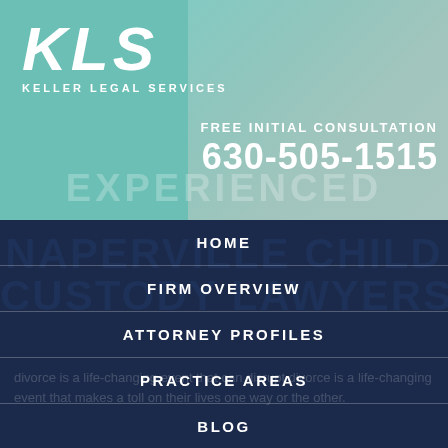[Figure (logo): KLS Keller Legal Services logo with teal/green background and faded family photo overlay]
FREE INITIAL CONSULTATION
630-505-1515
EXPERIENCED
HOME
FIRM OVERVIEW
ATTORNEY PROFILES
PRACTICE AREAS
BLOG